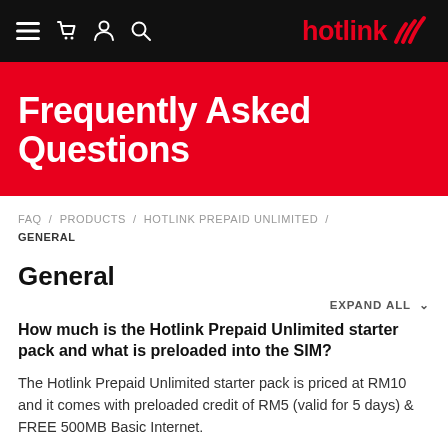hotlink — navigation bar with menu, cart, account, search icons
Frequently Asked Questions
FAQ / PRODUCTS / HOTLINK PREPAID UNLIMITED / GENERAL
General
EXPAND ALL
How much is the Hotlink Prepaid Unlimited starter pack and what is preloaded into the SIM?
The Hotlink Prepaid Unlimited starter pack is priced at RM10 and it comes with preloaded credit of RM5 (valid for 5 days) & FREE 500MB Basic Internet.